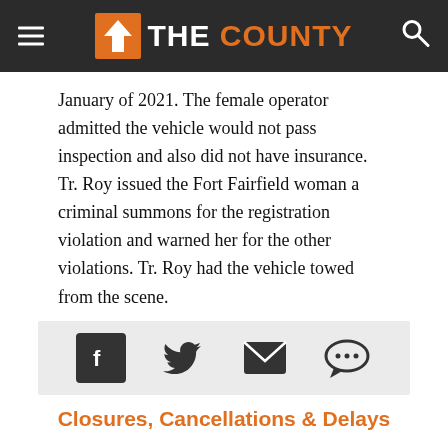THE COUNTY
January of 2021.  The female operator admitted the vehicle would not pass inspection and also did not have insurance.  Tr. Roy issued the Fort Fairfield woman a criminal summons for the registration violation and warned her for the other violations.  Tr. Roy had the vehicle towed from the scene.
[Figure (other): Social share icons: Facebook, Twitter, Email, Comment]
Closures, Cancellations & Delays
Public Notices
[Figure (logo): YES Account / Your Reason to Say Yes / The County Federal Credit Union advertisement banner]